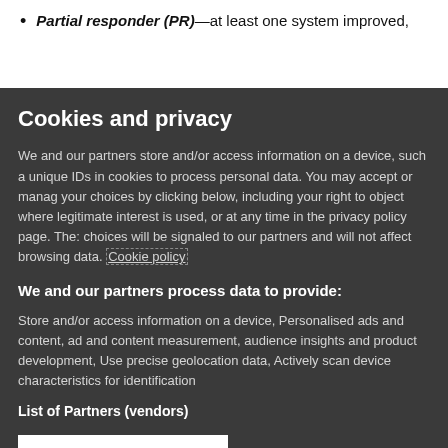Partial responder (PR)—at least one system improved, [text continues below]
Cookies and privacy
We and our partners store and/or access information on a device, such as unique IDs in cookies to process personal data. You may accept or manage your choices by clicking below, including your right to object where legitimate interest is used, or at any time in the privacy policy page. These choices will be signaled to our partners and will not affect browsing data. Cookie policy
We and our partners process data to provide:
Store and/or access information on a device, Personalised ads and content, ad and content measurement, audience insights and product development, Use precise geolocation data, Actively scan device characteristics for identification
List of Partners (vendors)
I Accept